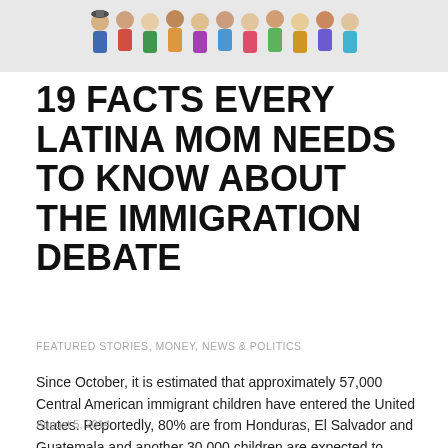[Figure (illustration): Header image showing a crowd of colorful cartoon/toy figurines representing diverse people]
19 FACTS EVERY LATINA MOM NEEDS TO KNOW ABOUT THE IMMIGRATION DEBATE
FEATURED STORIES, MONEY, NEWS & POLITICS
Since October, it is estimated that approximately 57,000 Central American immigrant children have entered the United States. Reportedly, 80% are from Honduras, El Salvador and Guatemala and another 30,000 children are expected to emigrate…
August 5, 2014